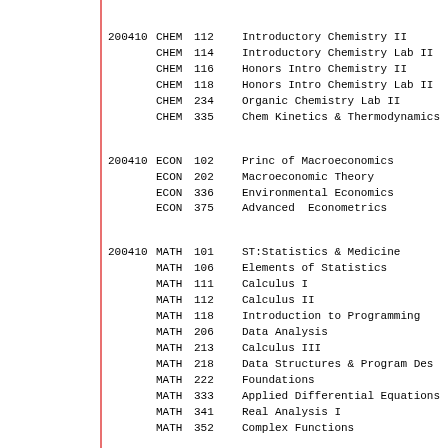| Term | Dept | Num | Course Title |
| --- | --- | --- | --- |
| 200410 | CHEM | 112 | Introductory Chemistry II |
|  | CHEM | 114 | Introductory Chemistry Lab II |
|  | CHEM | 116 | Honors Intro Chemistry II |
|  | CHEM | 118 | Honors Intro Chemistry Lab II |
|  | CHEM | 234 | Organic Chemistry Lab II |
|  | CHEM | 335 | Chem Kinetics & Thermodynamics |
| 200410 | ECON | 102 | Princ of Macroeconomics |
|  | ECON | 202 | Macroeconomic Theory |
|  | ECON | 336 | Environmental Economics |
|  | ECON | 375 | Advanced  Econometrics |
| 200410 | MATH | 101 | ST:Statistics & Medicine |
|  | MATH | 106 | Elements of Statistics |
|  | MATH | 111 | Calculus I |
|  | MATH | 112 | Calculus II |
|  | MATH | 118 | Introduction to Programming |
|  | MATH | 206 | Data Analysis |
|  | MATH | 213 | Calculus III |
|  | MATH | 218 | Data Structures & Program Des |
|  | MATH | 222 | Foundations |
|  | MATH | 333 | Applied Differential Equations |
|  | MATH | 341 | Real Analysis I |
|  | MATH | 352 | Complex Functions |